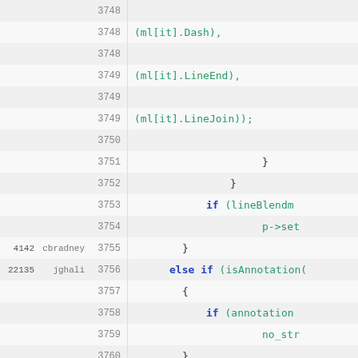Source code viewer showing lines 3748-3766 with revision and author annotations
| rev | author | line | code |
| --- | --- | --- | --- |
|  |  | 3748 |  |
|  |  | 3748 | (ml[it].LineEnd), |
|  |  | 3749 |  |
|  |  | 3749 | (ml[it].LineJoin)); |
|  |  | 3750 |  |
|  |  | 3751 | } |
|  |  | 3752 | } |
|  |  | 3753 | if (lineBlendm |
|  |  | 3754 | p->set |
| 4142 | cbradney | 3755 | } |
| 22135 | jghali | 3756 | else if (isAnnotation( |
|  |  | 3757 | { |
|  |  | 3758 | if (annotation |
|  |  | 3759 | no_str |
|  |  | 3760 | } |
| 4142 | cbradney | 3761 | } |
| 14215 | fschmid | 3762 | p->setFillMode(ScPainter::Soli |
|  |  | 3763 | p->setStrokeMode(ScPainter::Sc |
| 14681 | fschmid | 3764 | p->restore(); |
|  |  | 3765 | } |
|  |  | 3766 |  |